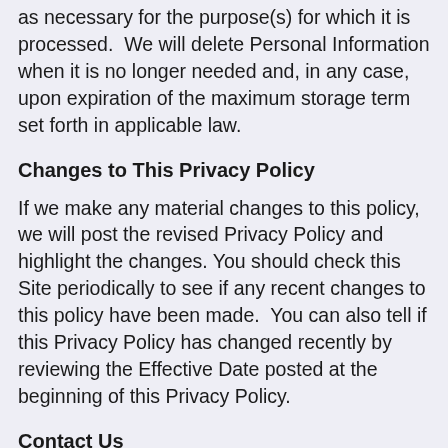as necessary for the purpose(s) for which it is processed.  We will delete Personal Information when it is no longer needed and, in any case, upon expiration of the maximum storage term set forth in applicable law.
Changes to This Privacy Policy
If we make any material changes to this policy, we will post the revised Privacy Policy and highlight the changes. You should check this Site periodically to see if any recent changes to this policy have been made.  You can also tell if this Privacy Policy has changed recently by reviewing the Effective Date posted at the beginning of this Privacy Policy.
Contact Us
If you have any questions about this Privacy Policy, our privacy practices or any concerns or complaints about